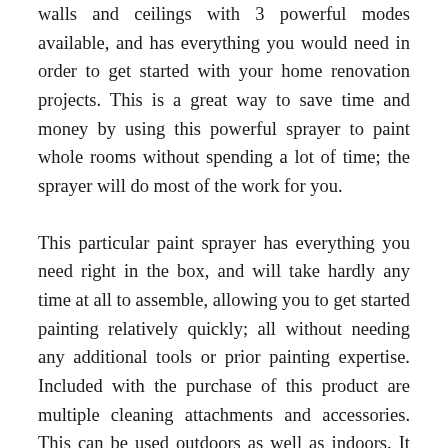walls and ceilings with 3 powerful modes available, and has everything you would need in order to get started with your home renovation projects. This is a great way to save time and money by using this powerful sprayer to paint whole rooms without spending a lot of time; the sprayer will do most of the work for you.
This particular paint sprayer has everything you need right in the box, and will take hardly any time at all to assemble, allowing you to get started painting relatively quickly; all without needing any additional tools or prior painting expertise. Included with the purchase of this product are multiple cleaning attachments and accessories. This can be used outdoors as well as indoors. It has a large paint reservoir that will allow you to paint a lot of surface area without needing to be refilled.